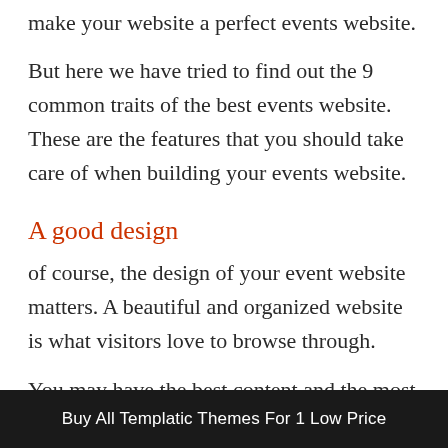make your website a perfect events website.
But here we have tried to find out the 9 common traits of the best events website. These are the features that you should take care of when building your events website.
A good design
of course, the design of your event website matters. A beautiful and organized website is what visitors love to browse through.
You may have the best content and the most useful resources on your website, but if the design is too crowded or too plain, or making
Buy All Templatic Themes For 1 Low Price